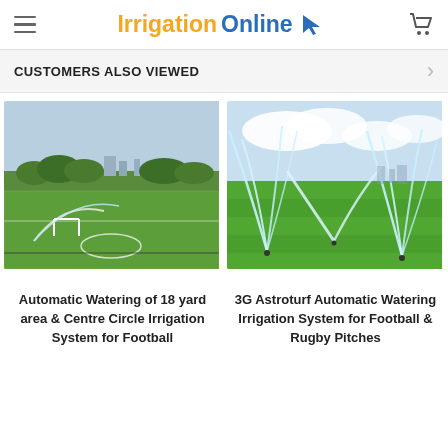Irrigation Online
CUSTOMERS ALSO VIEWED
[Figure (photo): Football pitch with irrigation sprinklers active, city skyline and trees in background]
Automatic Watering of 18 yard area & Centre Circle Irrigation System for Football
[Figure (photo): Close-up of automatic irrigation sprinklers spraying water over a green sports pitch]
3G Astroturf Automatic Watering Irrigation System for Football & Rugby Pitches